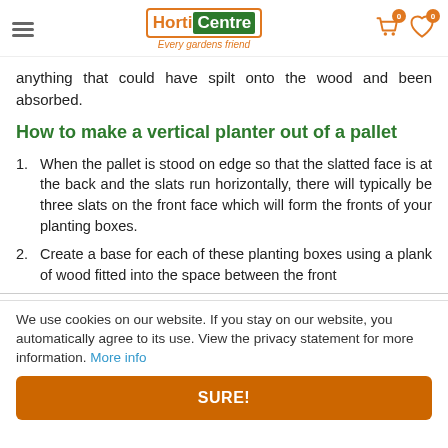HortiCentre - Every gardens friend
anything that could have spilt onto the wood and been absorbed.
How to make a vertical planter out of a pallet
When the pallet is stood on edge so that the slatted face is at the back and the slats run horizontally, there will typically be three slats on the front face which will form the fronts of your planting boxes.
Create a base for each of these planting boxes using a plank of wood fitted into the space between the front and back faces of the pallet. Nail the floor in place if
We use cookies on our website. If you stay on our website, you automatically agree to its use. View the privacy statement for more information. More info
SURE!